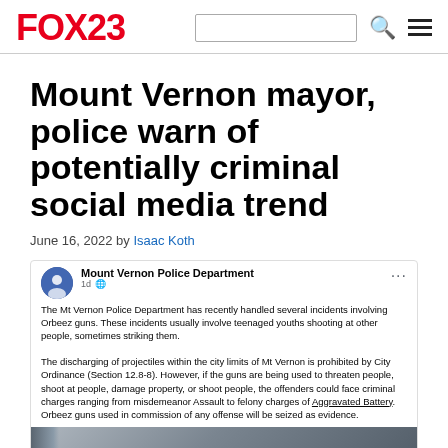FOX23
Mount Vernon mayor, police warn of potentially criminal social media trend
June 16, 2022 by Isaac Koth
[Figure (screenshot): Facebook post from Mount Vernon Police Department warning about Orbeez gun incidents, with a video play button overlay. Text reads: 'The Mt Vernon Police Department has recently handled several incidents involving Orbeez guns. These incidents usually involve teenaged youths shooting at other people, sometimes striking them. The discharging of projectiles within the city limits of Mt Vernon is prohibited by City Ordinance (Section 12.8-8). However, if the guns are being used to threaten people, shoot at people, damage property, or shoot people, the offenders could face criminal charges ranging from misdemeanor Assault to felony charges of Aggravated Battery. Orbeez guns used in commission of any offense will be seized as evidence.']